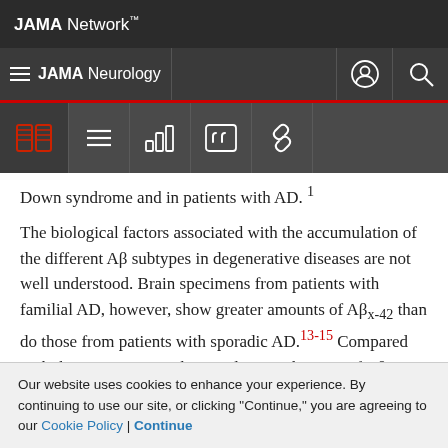JAMA Network
JAMA Neurology
Down syndrome and in patients with AD. 1
The biological factors associated with the accumulation of the different Aβ subtypes in degenerative diseases are not well understood. Brain specimens from patients with familial AD, however, show greater amounts of Aβx-42 than do those from patients with sporadic AD.13-15 Compared with that in patients with sporadic AD, the ratio of Aβx-42 to Aβx-40 is also increased in patients with
Our website uses cookies to enhance your experience. By continuing to use our site, or clicking "Continue," you are agreeing to our Cookie Policy | Continue